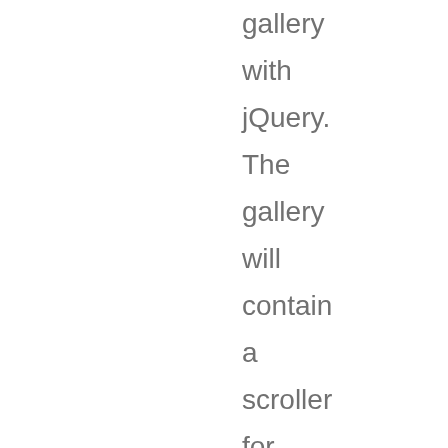gallery with jQuery. The gallery will contain a scroller for thumbnails and a content area where we will display details about the portfolio